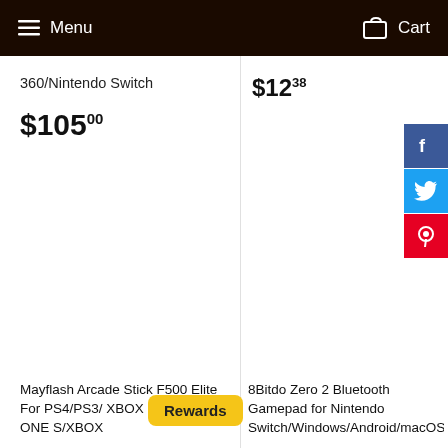Menu   Cart
360/Nintendo Switch
$105.00
$12.38
[Figure (other): Facebook share button (blue square with white F logo)]
[Figure (other): Twitter share button (light blue square with white bird logo)]
[Figure (other): Pinterest share button (red square with white P logo)]
Mayflash Arcade Stick F500 Elite For PS4/PS3/ XBOX ONE/XBOX ONE S/XBOX
8Bitdo Zero 2 Bluetooth Gamepad for Nintendo Switch/Windows/Android/macOS/Ra
Rewards